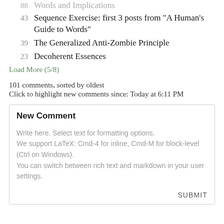88  Words and Implications
43  Sequence Exercise: first 3 posts from "A Human's Guide to Words"
39  The Generalized Anti-Zombie Principle
23  Decoherent Essences
Load More (5/8)
101 comments, sorted by oldest
Click to highlight new comments since: Today at 6:11 PM
New Comment
Write here. Select text for formatting options.
We support LaTeX: Cmd-4 for inline, Cmd-M for block-level (Ctrl on Windows).
You can switch between rich text and markdown in your user settings.
SUBMIT